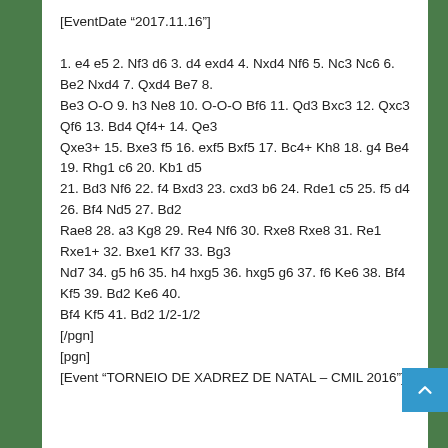[EventDate "2017.11.16"]

1. e4 e5 2. Nf3 d6 3. d4 exd4 4. Nxd4 Nf6 5. Nc3 Nc6 6. Be2 Nxd4 7. Qxd4 Be7 8. Be3 O-O 9. h3 Ne8 10. O-O-O Bf6 11. Qd3 Bxc3 12. Qxc3 Qf6 13. Bd4 Qf4+ 14. Qe3 Qxe3+ 15. Bxe3 f5 16. exf5 Bxf5 17. Bc4+ Kh8 18. g4 Be4 19. Rhg1 c6 20. Kb1 d5 21. Bd3 Nf6 22. f4 Bxd3 23. cxd3 b6 24. Rde1 c5 25. f5 d4 26. Bf4 Nd5 27. Bd2 Rae8 28. a3 Kg8 29. Re4 Nf6 30. Rxe8 Rxe8 31. Re1 Rxe1+ 32. Bxe1 Kf7 33. Bg3 Nd7 34. g5 h6 35. h4 hxg5 36. hxg5 g6 37. f6 Ke6 38. Bf4 Kf5 39. Bd2 Ke6 40. Bf4 Kf5 41. Bd2 1/2-1/2
[/pgn]
[pgn]
[Event "TORNEIO DE XADREZ DE NATAL – CMIL 2016"]